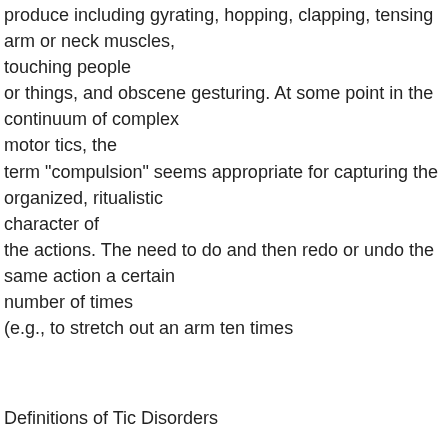produce including gyrating, hopping, clapping, tensing arm or neck muscles, touching people or things, and obscene gesturing. At some point in the continuum of complex motor tics, the term "compulsion" seems appropriate for capturing the organized, ritualistic character of the actions. The need to do and then redo or undo the same action a certain number of times (e.g., to stretch out an arm ten times
Definitions of Tic Disorders